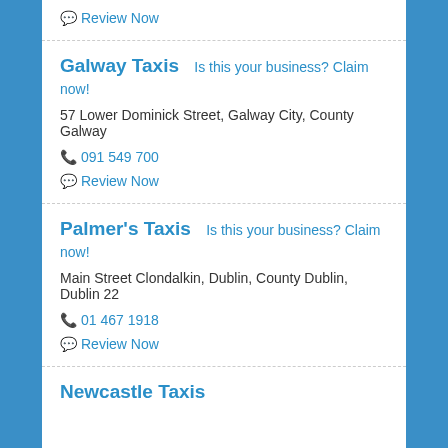Review Now
Galway Taxis   Is this your business? Claim now!
57 Lower Dominick Street, Galway City, County Galway
091 549 700
Review Now
Palmer's Taxis   Is this your business? Claim now!
Main Street Clondalkin, Dublin, County Dublin, Dublin 22
01 467 1918
Review Now
Newcastle Taxis